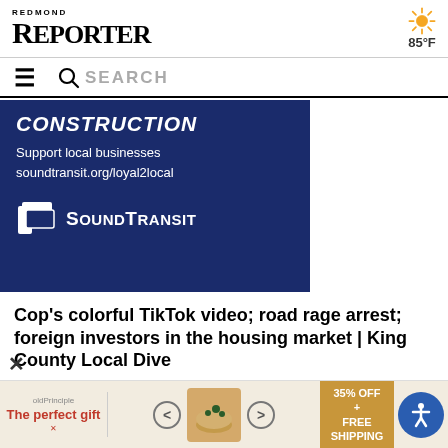REDMOND REPORTER — 85°F
[Figure (screenshot): Sound Transit advertisement with dark blue background. Text reads: CONSTRUCTION — Support local businesses soundtransit.org/loyal2local — SoundTransit logo]
Cop's colorful TikTok video; road rage arrest; foreign investors in the housing market | King County Local Dive
Redmond Homegrown marks fourth location to...
[Figure (screenshot): Bottom advertisement bar showing 'The perfect gift' promo with navigation arrows, product image, and '35% OFF + FREE SHIPPING' offer badge, plus accessibility icon]